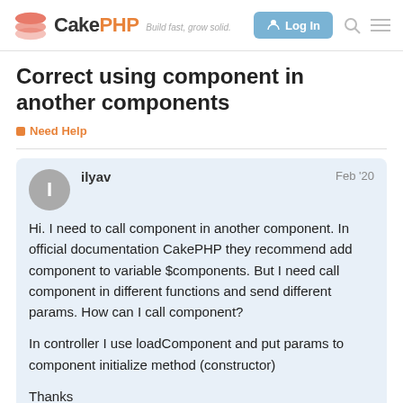CakePHP — Build fast, grow solid. Log In
Correct using component in another components
Need Help
ilyav  Feb '20
Hi. I need to call component in another component. In official documentation CakePHP they recommend add component to variable $components. But I need call component in different functions and send different params. How can I call component?

In controller I use loadComponent and put params to component initialize method (constructor)

Thanks
1 / 7